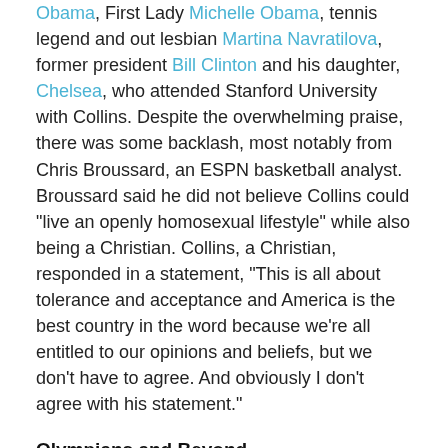Obama, First Lady Michelle Obama, tennis legend and out lesbian Martina Navratilova, former president Bill Clinton and his daughter, Chelsea, who attended Stanford University with Collins. Despite the overwhelming praise, there was some backlash, most notably from Chris Broussard, an ESPN basketball analyst. Broussard said he did not believe Collins could "live an openly homosexual lifestyle" while also being a Christian. Collins, a Christian, responded in a statement, "This is all about tolerance and acceptance and America is the best country in the word because we're all entitled to our opinions and beliefs, but we don't have to agree. And obviously I don't agree with his statement."
Olympians and Beyond
Olympic athletes have also started coming out. Gus Kenworthy, an Olympic freeskier who won silver in Sochi 2014 came out October 22, 2015. He tweeted, "I am gay." After coming out, EPSN Magazine published a profile on